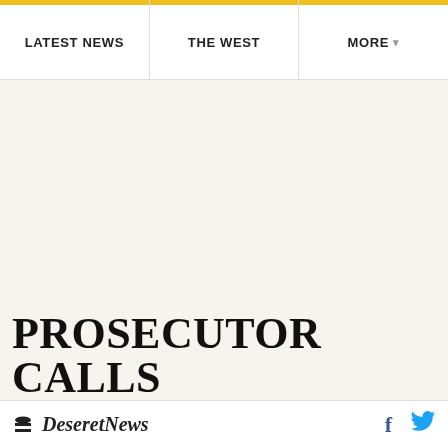LATEST NEWS | THE WEST | MORE
PROSECUTOR CALLS
Deseret News | Facebook | Twitter